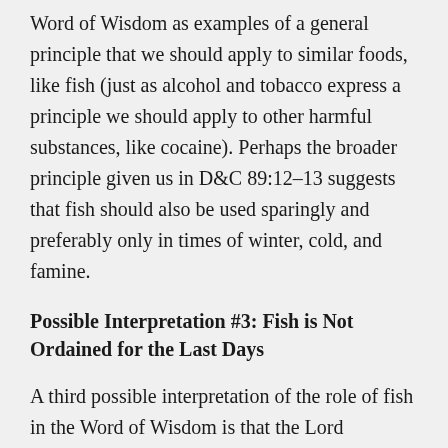Word of Wisdom as examples of a general principle that we should apply to similar foods, like fish (just as alcohol and tobacco express a principle we should apply to other harmful substances, like cocaine). Perhaps the broader principle given us in D&C 89:12–13 suggests that fish should also be used sparingly and preferably only in times of winter, cold, and famine.
Possible Interpretation #3: Fish is Not Ordained for the Last Days
A third possible interpretation of the role of fish in the Word of Wisdom is that the Lord ordained the specific list of foods included in Section 89 and intentionally left out other foods. Wholesome plant foods are in. Grains are in. The flesh of beasts and fowls of the air are in. But no mention is made of